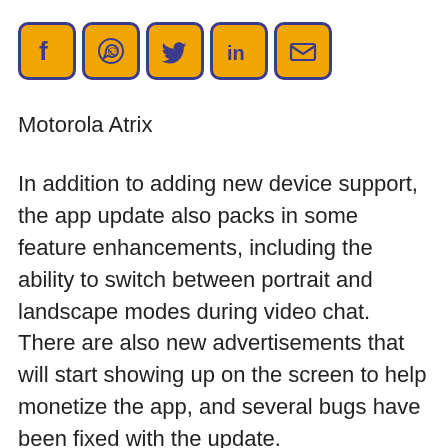[Figure (other): Row of social media sharing icons: Facebook, WhatsApp, Twitter, LinkedIn, Email — orange rounded square buttons with dark blue borders and white icons]
Motorola Atrix
In addition to adding new device support, the app update also packs in some feature enhancements, including the ability to switch between portrait and landscape modes during video chat. There are also new advertisements that will start showing up on the screen to help monetize the app, and several bugs have been fixed with the update.